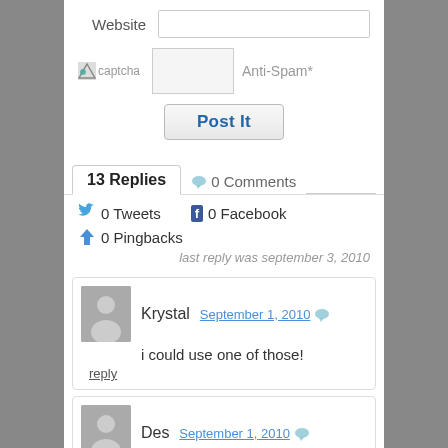Website
Anti-Spam*
Post It
13 Replies   0 Comments
0 Tweets   0 Facebook
0 Pingbacks
last reply was september 3, 2010
Krystal   September 1, 2010
i could use one of those!
reply
Des   September 1, 2010
Hello! Looking forward to reading more of your posts!:-) Following you from Moms Rev 4 U!:)